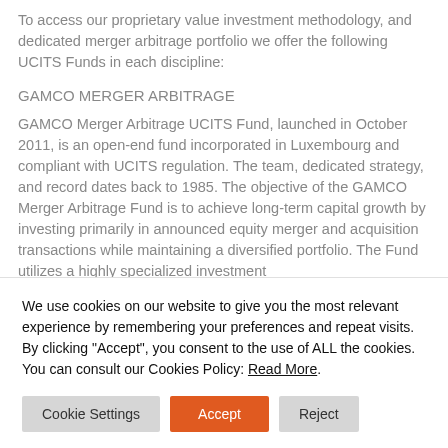To access our proprietary value investment methodology, and dedicated merger arbitrage portfolio we offer the following UCITS Funds in each discipline:
GAMCO MERGER ARBITRAGE
GAMCO Merger Arbitrage UCITS Fund, launched in October 2011, is an open-end fund incorporated in Luxembourg and compliant with UCITS regulation. The team, dedicated strategy, and record dates back to 1985. The objective of the GAMCO Merger Arbitrage Fund is to achieve long-term capital growth by investing primarily in announced equity merger and acquisition transactions while maintaining a diversified portfolio. The Fund utilizes a highly specialized investment
We use cookies on our website to give you the most relevant experience by remembering your preferences and repeat visits. By clicking "Accept", you consent to the use of ALL the cookies. You can consult our Cookies Policy: Read More.